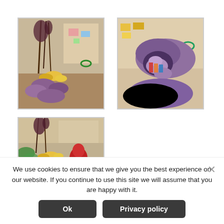[Figure (photo): Photo of a craft/diorama scene with sticks, plants, yellow corn-like objects and purple clay figures on a table with colorful items in background]
[Figure (photo): Close-up photo of purple clay animal figures (tortoise/turtle like) with colorful toys in background]
[Figure (photo): Photo of a craft scene similar to first, with sticks, plants, yellow figures and a red figure in foreground]
We use cookies to ensure that we give you the best experience on our website. If you continue to use this site we will assume that you are happy with it.
Ok
Privacy policy